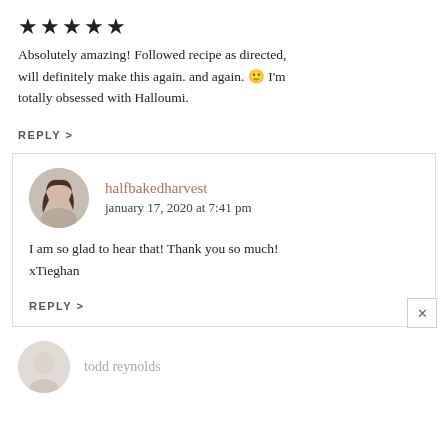[Figure (other): Five filled black star rating icons]
Absolutely amazing! Followed recipe as directed, will definitely make this again. and again. 🙂 I'm totally obsessed with Halloumi.
REPLY >
halfbakedharvest
january 17, 2020 at 7:41 pm
I am so glad to hear that! Thank you so much! xTieghan
REPLY >
todd reynolds